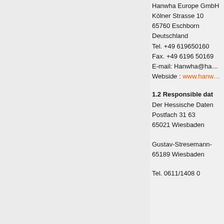Hanwha Europe GmbH
Kölner Strasse 10
65760 Eschborn
Deutschland
Tel. +49 619650160
Fax. +49 6196 50169
E-mail: Hanwha@ha…
Webside : www.hanw…
1.2 Responsible dat
Der Hessische Daten
Postfach 31 63
65021 Wiesbaden
Gustav-Stresemann-
65189 Wiesbaden
Tel. 0611/1408 0